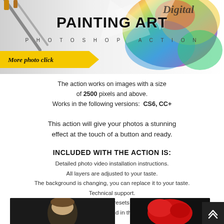[Figure (illustration): Digital Painting Art Photoshop Action banner with colorful paint splashes, brushes, and bold title text. Yellow 'More photo click' tag overlaid.]
The action works on images with a size of 2500 pixels and above. Works in the following versions: CS6, CC+
This action will give your photos a stunning effect at the touch of a button and ready.
INCLUDED WITH THE ACTION IS:
Detailed photo video installation instructions.
All layers are adjusted to your taste.
The background is changing, you can replace it to your taste.
Technical support.
Color Presets
And much more you will find in this amazing action.
[Figure (photo): Two small preview photos at the bottom of the page showing portrait with digital painting effects applied.]